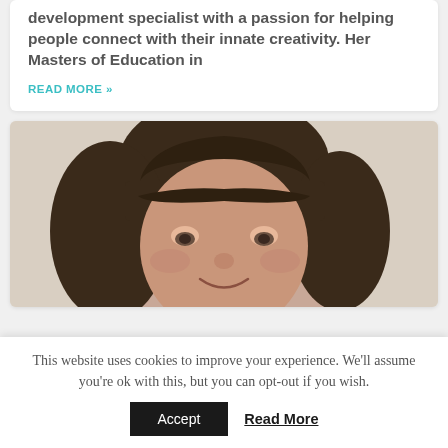development specialist with a passion for helping people connect with their innate creativity. Her Masters of Education in
READ MORE »
[Figure (photo): Close-up photo of a woman with dark brown hair with bangs, smiling, photographed against a light beige background]
This website uses cookies to improve your experience. We'll assume you're ok with this, but you can opt-out if you wish.
Accept   Read More